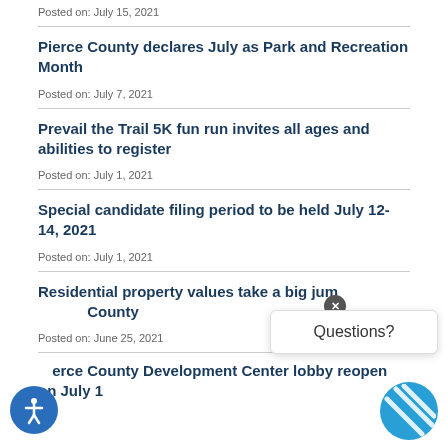Posted on: July 15, 2021
Pierce County declares July as Park and Recreation Month
Posted on: July 7, 2021
Prevail the Trail 5K fun run invites all ages and abilities to register
Posted on: July 1, 2021
Special candidate filing period to be held July 12-14, 2021
Posted on: July 1, 2021
Residential property values take a big jump in Pierce County
Posted on: June 25, 2021
Pierce County Development Center lobby reopens on July 1